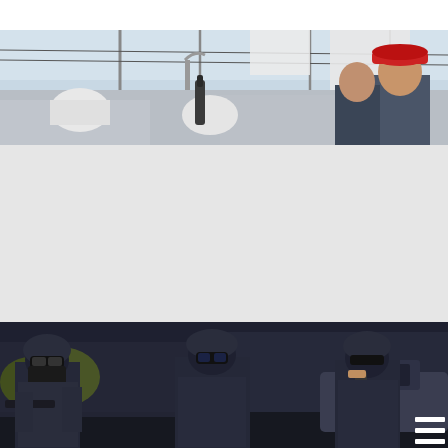[Figure (photo): Egyptian military soldiers or police in red berets at an outdoor location with utility poles and sky in background]
Egypt army kills 18 terrorists in North Sinai
[Figure (photo): Egyptian special forces or police in dark tactical gear and helmets with goggles, standing near a vehicle on a street]